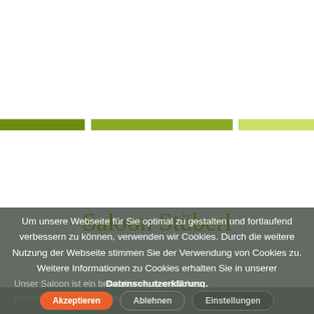[Figure (infographic): White upper area of a website screenshot with green stripe divider composed of four shades of green/olive color segments]
Saloon Stüberl
Um unsere Webseite für Sie optimal zu gestalten und fortlaufend verbessern zu können, verwenden wir Cookies. Durch die weitere Nutzung der Webseite stimmen Sie der Verwendung von Cookies zu. Weitere Informationen zu Cookies erhalten Sie in unserer Datenschutzerklärung.
Unser Saloon ist ein beheizbares, gemütliches Reiterstuberl, das zum gemütlichen …